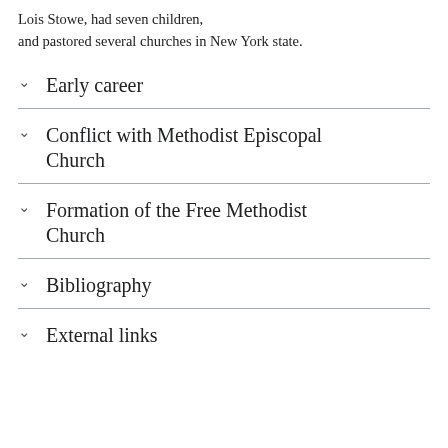Lois Stowe, had seven children, and pastored several churches in New York state.
Early career
Conflict with Methodist Episcopal Church
Formation of the Free Methodist Church
Bibliography
External links